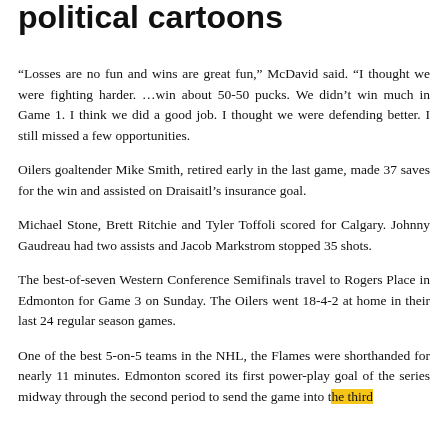political cartoons
“Losses are no fun and wins are great fun,” McDavid said. “I thought we were fighting harder. …win about 50-50 pucks. We didn’t win much in Game 1. I think we did a good job. I thought we were defending better. I still missed a few opportunities.
Oilers goaltender Mike Smith, retired early in the last game, made 37 saves for the win and assisted on Draisaitl’s insurance goal.
Michael Stone, Brett Ritchie and Tyler Toffoli scored for Calgary. Johnny Gaudreau had two assists and Jacob Markstrom stopped 35 shots.
The best-of-seven Western Conference Semifinals travel to Rogers Place in Edmonton for Game 3 on Sunday. The Oilers went 18-4-2 at home in their last 24 regular season games.
One of the best 5-on-5 teams in the NHL, the Flames were shorthanded for nearly 11 minutes. Edmonton scored its first power-play goal of the series midway through the second period to send the game into the third